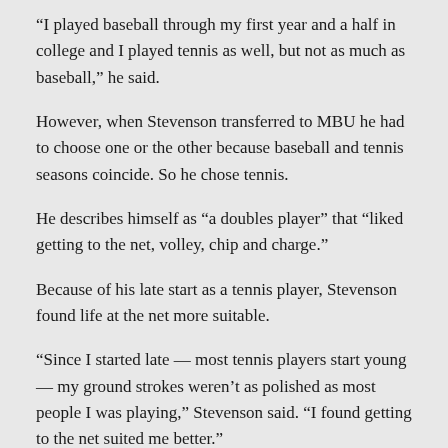“I played baseball through my first year and a half in college and I played tennis as well, but not as much as baseball,” he said.
However, when Stevenson transferred to MBU he had to choose one or the other because baseball and tennis seasons coincide. So he chose tennis.
He describes himself as “a doubles player” that “liked getting to the net, volley, chip and charge.”
Because of his late start as a tennis player, Stevenson found life at the net more suitable.
“Since I started late — most tennis players start young — my ground strokes weren’t as polished as most people I was playing,” Stevenson said. “I found getting to the net suited me better.”
Getting to the net and doubles play are what Stevenson specializes in through his coaching method, and he instills